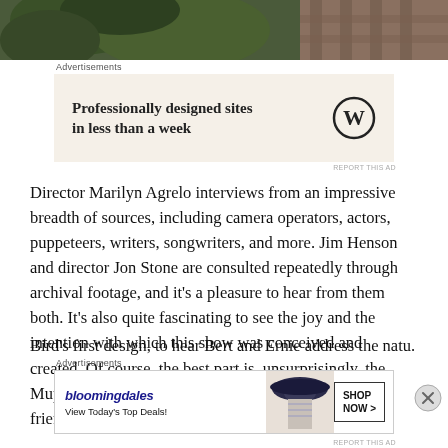[Figure (photo): Partial top image showing greenery/plants and a person in plaid shirt, cropped at bottom]
Advertisements
[Figure (screenshot): Advertisement: WordPress - Professionally designed sites in less than a week]
Director Marilyn Agrelo interviews from an impressive breadth of sources, including camera operators, actors, puppeteers, writers, songwriters, and more. Jim Henson and director Jon Stone are consulted repeatedly through archival footage, and it’s a pleasure to hear from them both. It’s also quite fascinating to see the joy and the intention with which this show was conceived and created. Of course, the best part is, unsurprisingly, the Muppets themselves. It’s exciting to revisit childhood friends, but it’s also a delight to see Big Bird’s first design, to hear Bert and Ernie address the natu...
Advertisements
[Figure (screenshot): Advertisement: Bloomingdales - View Today’s Top Deals! Shop Now >]